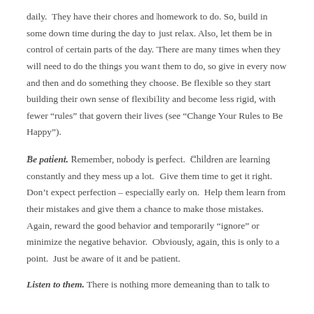daily.  They have their chores and homework to do. So, build in some down time during the day to just relax. Also, let them be in control of certain parts of the day. There are many times when they will need to do the things you want them to do, so give in every now and then and do something they choose. Be flexible so they start building their own sense of flexibility and become less rigid, with fewer “rules” that govern their lives (see “Change Your Rules to Be Happy”).
Be patient. Remember, nobody is perfect.  Children are learning constantly and they mess up a lot.  Give them time to get it right.  Don’t expect perfection – especially early on.  Help them learn from their mistakes and give them a chance to make those mistakes.  Again, reward the good behavior and temporarily “ignore” or minimize the negative behavior.  Obviously, again, this is only to a point.  Just be aware of it and be patient.
Listen to them. There is nothing more demeaning than to talk to